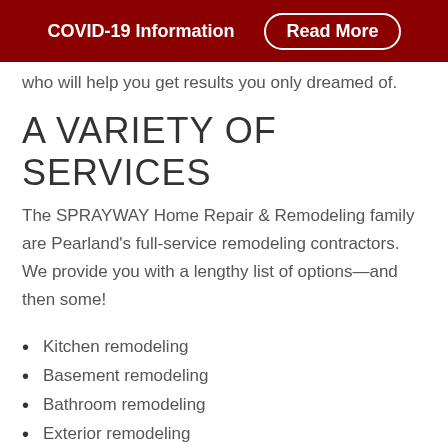COVID-19 Information   Read More
who will help you get results you only dreamed of.
A VARIETY OF SERVICES
The SPRAYWAY Home Repair & Remodeling family are Pearland's full-service remodeling contractors. We provide you with a lengthy list of options—and then some!
Kitchen remodeling
Basement remodeling
Bathroom remodeling
Exterior remodeling
Countertop cabinet and furniture and floor finishing